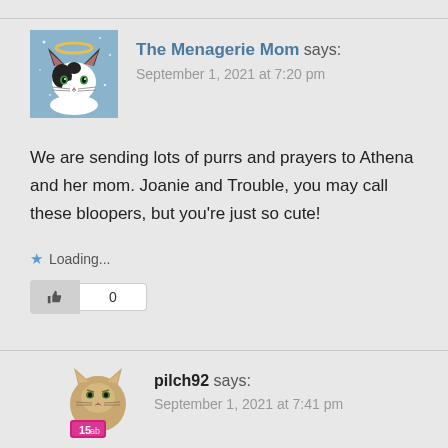[Figure (illustration): Avatar image of a black and white cat with a halo on blue background]
The Menagerie Mom says:
September 1, 2021 at 7:20 pm
We are sending lots of purrs and prayers to Athena and her mom. Joanie and Trouble, you may call these bloopers, but you’re just so cute!
★ Loading...
0
[Figure (illustration): Avatar image of a tan cat with pink accessories]
pilch92 says:
September 1, 2021 at 7:41 pm